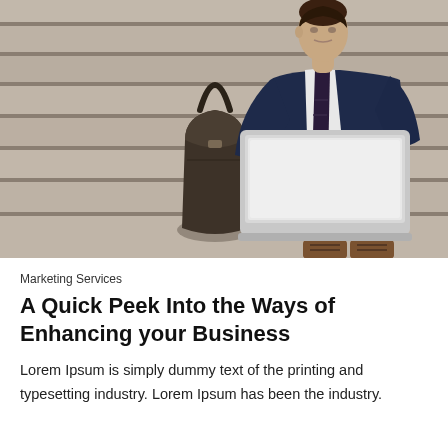[Figure (photo): A businessman in a blue suit sitting on stone steps working on a laptop, with a dark leather bag beside him.]
Marketing Services
A Quick Peek Into the Ways of Enhancing your Business
Lorem Ipsum is simply dummy text of the printing and typesetting industry. Lorem Ipsum has been the industry.